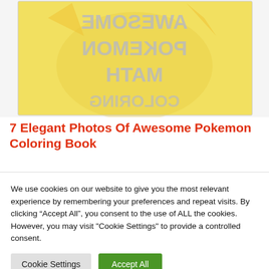[Figure (illustration): Book cover showing 'AWESOME POKEMON MATH COLORING' text mirrored/flipped, with a yellow background and Pikachu illustration. Text appears reversed as if seen from behind.]
7 Elegant Photos Of Awesome Pokemon Coloring Book
We use cookies on our website to give you the most relevant experience by remembering your preferences and repeat visits. By clicking “Accept All”, you consent to the use of ALL the cookies. However, you may visit "Cookie Settings" to provide a controlled consent.